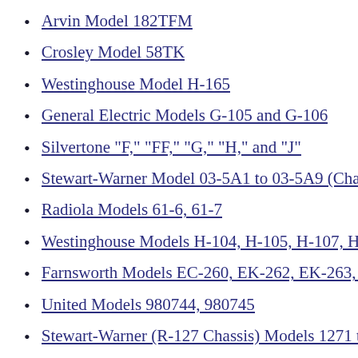Arvin Model 182TFM
Crosley Model 58TK
Westinghouse Model H-165
General Electric Models G-105 and G-106
Silvertone "F," "FF," "G," "H," and "J"
Stewart-Warner Model 03-5A1 to 03-5A9 (Chassis 03-5A…
Radiola Models 61-6, 61-7
Westinghouse Models H-104, H-105, H-107, H-108
Farnsworth Models EC-260, EK-262, EK-263, EK-264, E…
United Models 980744, 980745
Stewart-Warner (R-127 Chassis) Models 1271 to 1279 All-…